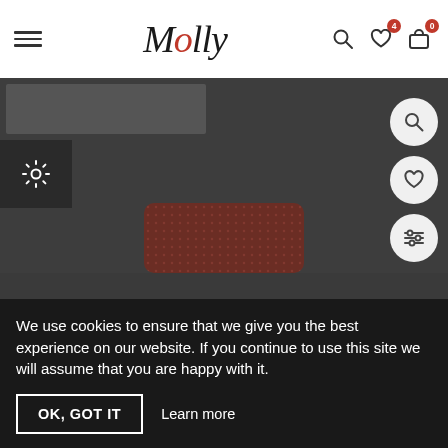[Figure (screenshot): Website header with hamburger menu, Molly logo in script font, search icon, wishlist icon with badge 4, and cart icon with badge 0]
[Figure (screenshot): E-commerce product page screenshot showing dark overlay with gear/settings button, zoom, wishlist, and filter floating action buttons on right side, and a partially visible dark red patterned product (tie or accessory) at bottom center]
We use cookies to ensure that we give you the best experience on our website. If you continue to use this site we will assume that you are happy with it.
OK, GOT IT
Learn more